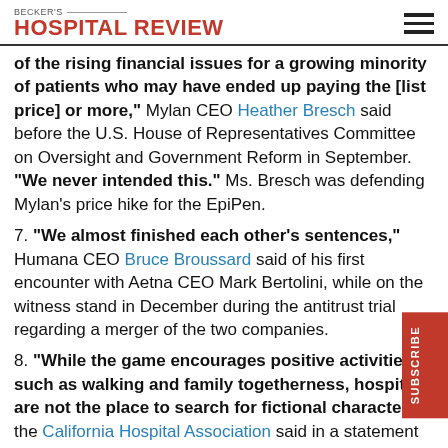BECKER'S HOSPITAL REVIEW
of the rising financial issues for a growing minority of patients who may have ended up paying the [list price] or more," Mylan CEO Heather Bresch said before the U.S. House of Representatives Committee on Oversight and Government Reform in September. "We never intended this." Ms. Bresch was defending Mylan's price hike for the EpiPen.
7. "We almost finished each other's sentences," Humana CEO Bruce Broussard said of his first encounter with Aetna CEO Mark Bertolini, while on the witness stand in December during the antitrust trial regarding a merger of the two companies.
8. "While the game encourages positive activities such as walking and family togetherness, hospitals are not the place to search for fictional characters," the California Hospital Association said in a statement advising hospitals to ban the popular smartphone game